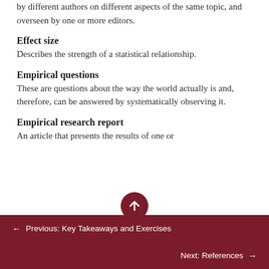by different authors on different aspects of the same topic, and overseen by one or more editors.
Effect size
Describes the strength of a statistical relationship.
Empirical questions
These are questions about the way the world actually is and, therefore, can be answered by systematically observing it.
Empirical research report
An article that presents the results of one or
← Previous: Key Takeaways and Exercises    Next: References →